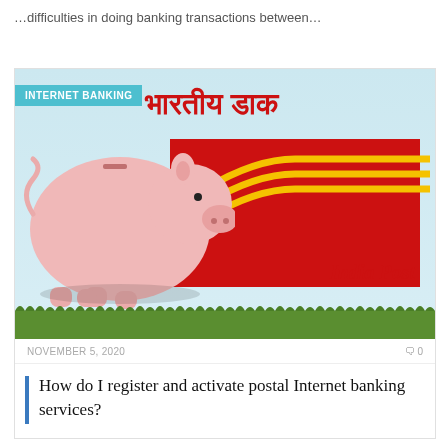…difficulties in doing banking transactions between…
[Figure (photo): India Post internet banking promotional image showing a piggy bank alongside the India Post logo (red envelope with yellow swoosh lines) and Hindi text 'भारतीय डाक', with 'India Post' text, on a light blue sky background with grass at the bottom. An 'INTERNET BANKING' tag overlay is in the top-left.]
NOVEMBER 5, 2020   0
How do I register and activate postal Internet banking services?